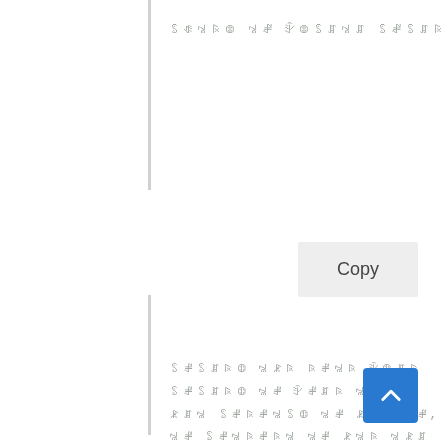ꌗꂻꁱꌖꂦ ꁱꂱ ꇫꂦꌗꁲꁱꁲ ꌗꂱꌗꁲꌗꂱꁱꁲ!
[Figure (other): Copy button - a rectangular light gray button with the text 'Copy']
ꌗꂱꌗꁲꌖꂦ ꁱꂿꌖ ꌖꂱꁱꌖ ꇫꂦꁲꌖ
ꌗꂱꌗꁲꌖꂦ ꁱꂱ ꇫꂱꁲꌖ ꁱꂱ,
ꂿꁲꁱ ꌗꂱꌖꂱꁱꌗꂦ ꁱꂱ ꂿꁱꌖ ꁱꂱ,
ꁱꂱ ꌗꂱꁱꌖꂱꌖꁱ ꁱꂱ ꂿꁱꌖ ꁱꂿꁲ
ꁱꂱ ꁱꂱ ꂿꁱꌖ ꁱꂱ ꂿꁱꌖ ꁱꁲꂱꌖ
ꁱꂱ ꁱꂱ ꁱꂱ ꁱꂱ ꂿꁱꌖ
ꌗꂱꁱꌖꂦ ꁱꂱ ꂿꁱꌖ ꁱꁲꌖ
ꌗꂱꁱꌖꂱꌖ ꌗꂱꁱꌖꂱꌖ!